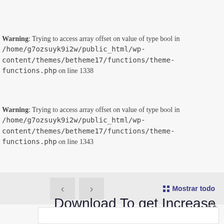Warning: Trying to access array offset on value of type bool in /home/g7ozsuyk9i2w/public_html/wp-content/themes/betheme17/functions/theme-functions.php on line 1338
Warning: Trying to access array offset on value of type bool in /home/g7ozsuyk9i2w/public_html/wp-content/themes/betheme17/functions/theme-functions.php on line 1343
‹  ›   :: Mostrar todo
Download To get Increase and even Not any cost